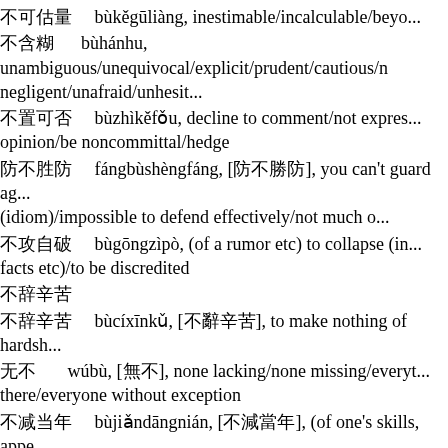不可估量 bùkěgūliàng, inestimable/incalculable/beyond measure
不含糊 bùhánhu, unambiguous/unequivocal/explicit/prudent/cautious/negligent/unafraid/unhesit...
不置可否 bùzhìkěfǒu, decline to comment/not express an opinion/be noncommittal/hedge
防不胜防 fángbùshèngfáng, [防不勝防], you can't guard against it (idiom)/impossible to defend effectively/not much one can do
不攻自破 bùgōngzìpò, (of a rumor etc) to collapse (in the face of facts etc)/to be discredited
不辞辛苦
不辞辛苦 bùcíxīnkǔ, [不辭辛苦], to make nothing of hardship
无不 wúbù, [無不], none lacking/none missing/everything is there/everyone without exception
不减当年 bùjiǎndāngnián, [不減當年], (of one's skills, appearance etc) not to have deteriorated a bit/to be as (good,...
莫不 mòbù, none doesn't/there is none who isn't/ev...